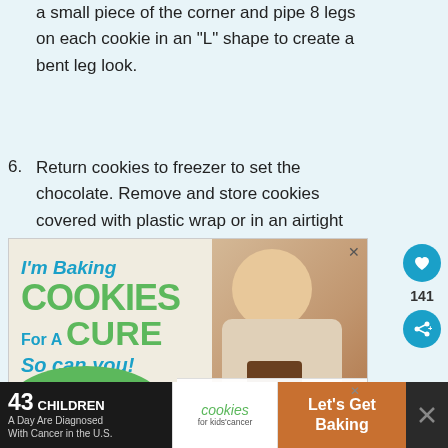a small piece of the corner and pipe 8 legs on each cookie in an "L" shape to create a bent leg look.
6. Return cookies to freezer to set the chocolate. Remove and store cookies covered with plastic wrap or in an airtight container up to 5 days.
[Figure (photo): Advertisement: I'm Baking COOKIES For A CURE So can you! — shows a smiling girl holding a plate of cookies, with a green cookies for kids' cancer logo and branding.]
[Figure (infographic): Bottom advertisement bar: 43 CHILDREN A Day Are Diagnosed With Cancer in the U.S. | cookies for kids' cancer | Let's Get Baking]